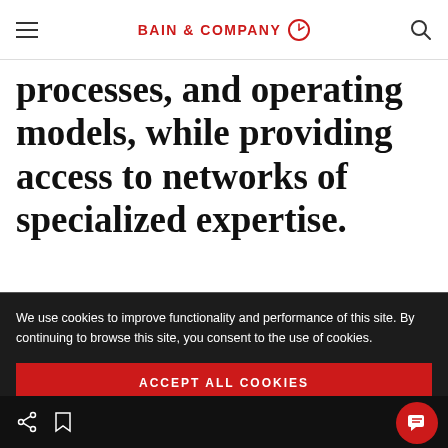BAIN & COMPANY
processes, and operating models, while providing access to networks of specialized expertise.
We use cookies to improve functionality and performance of this site. By continuing to browse this site, you consent to the use of cookies.
ACCEPT ALL COOKIES